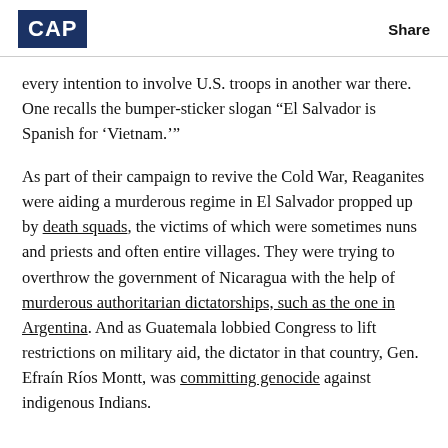CAP  Share
every intention to involve U.S. troops in another war there. One recalls the bumper-sticker slogan “El Salvador is Spanish for ‘Vietnam.’”
As part of their campaign to revive the Cold War, Reaganites were aiding a murderous regime in El Salvador propped up by death squads, the victims of which were sometimes nuns and priests and often entire villages. They were trying to overthrow the government of Nicaragua with the help of murderous authoritarian dictatorships, such as the one in Argentina. And as Guatemala lobbied Congress to lift restrictions on military aid, the dictator in that country, Gen. Efraín Ríos Montt, was committing genocide against indigenous Indians.